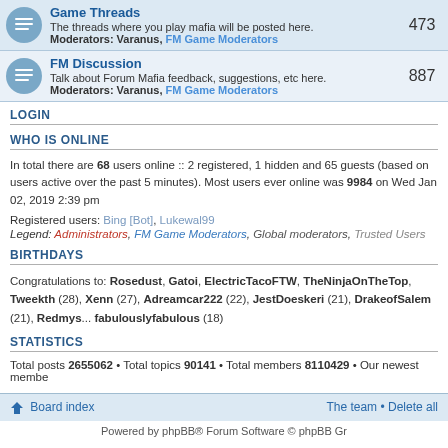| Forum | Posts |
| --- | --- |
| Game Threads — The threads where you play mafia will be posted here. Moderators: Varanus, FM Game Moderators | 473 |
| FM Discussion — Talk about Forum Mafia feedback, suggestions, etc here. Moderators: Varanus, FM Game Moderators | 887 |
LOGIN
WHO IS ONLINE
In total there are 68 users online :: 2 registered, 1 hidden and 65 guests (based on users active over the past 5 minutes)
Most users ever online was 9984 on Wed Jan 02, 2019 2:39 pm
Registered users: Bing [Bot], Lukewal99
Legend: Administrators, FM Game Moderators, Global moderators, Trusted Users
BIRTHDAYS
Congratulations to: Rosedust, Gatoi, ElectricTacoFTW, TheNinjaOnTheTop, Tweekth (28), Xenn (27), Adreamcar222 (22), JestDoeskeri (21), DrakeofSalem (21), Redmys... fabulouslyfabulous (18)
STATISTICS
Total posts 2655062 • Total topics 90141 • Total members 8110429 • Our newest membe...
Board index  The team • Delete all  Powered by phpBB® Forum Software © phpBB Gr...